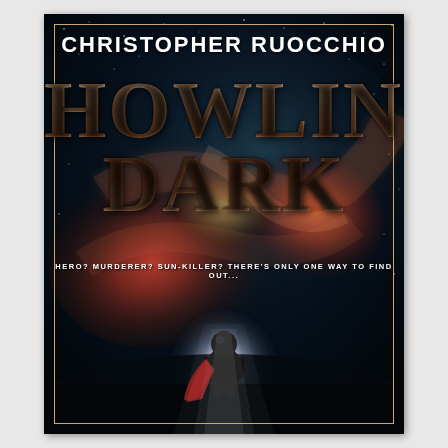[Figure (illustration): Book cover of 'Howling Dark' by Christopher Ruocchio. Dark space background with nebulae, galaxies in red, orange, teal and white. A lone figure in a spacesuit with a red cape stands silhouetted in the lower center foreground, facing a brilliant light source. A gold decorative border frames the cover. Author name at top in white bold uppercase letters. Book title in large metallic copper/bronze serif font. Tagline in small white uppercase text.]
CHRISTOPHER RUOCCHIO
HOWLING DARK
HERO? MURDERER? SUN-KILLER? THERE'S ONLY ONE WAY TO FIND OUT...